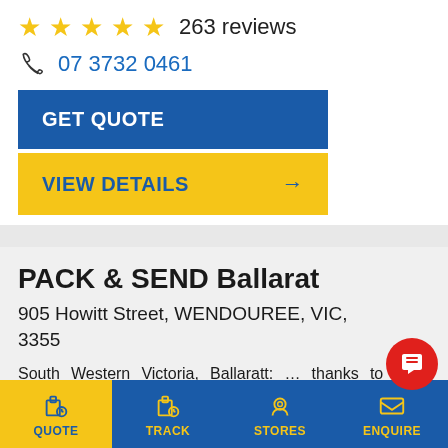[Figure (infographic): Five yellow star rating icons with '263 reviews' text]
07 3732 0461
GET QUOTE
VIEW DETAILS →
PACK & SEND Ballarat
905 Howitt Street, WENDOUREE, VIC, 3355
South Western Victoria, Ballaratt: … thanks to store manager Jason Delaney Had to ship a timber display cabinet from Ararat in Victoria … me to expand my business far and wide with them making shipping items anywhere possible and with ease. Not a bad word to …
QUOTE  TRACK  STORES  ENQUIRE